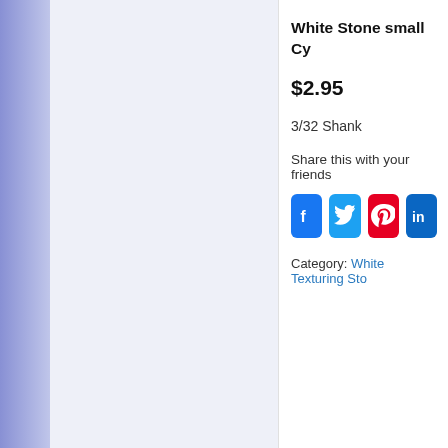White Stone small Cy
$2.95
3/32 Shank
Share this with your friends
[Figure (infographic): Social media sharing buttons: Facebook (blue), Twitter (blue), Pinterest (red), LinkedIn (dark blue)]
Category: White Texturing Sto
[Figure (photo): A white rectangular stone/stick product on white background]
Wet Stick